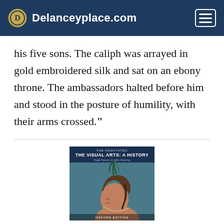Delanceyplace.com
his five sons. The caliph was arrayed in gold embroidered silk and sat on an ebony throne. The ambassadors halted before him and stood in the posture of humility, with their arms crossed."
[Figure (photo): Book cover of 'The Visual Arts: A History' showing a profile portrait of a Renaissance woman with an elaborate headdress with feathers and braided hair with pearls.]